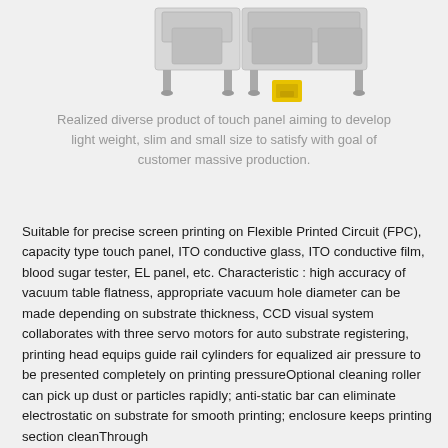[Figure (photo): Industrial screen printing machine with yellow component at base, shown from front/side angle against white background]
Realized diverse product of touch panel aiming to develop light weight, slim and small size to satisfy with goal of customer massive production.
Suitable for precise screen printing on Flexible Printed Circuit (FPC), capacity type touch panel, ITO conductive glass, ITO conductive film, blood sugar tester, EL panel, etc. Characteristic : high accuracy of vacuum table flatness, appropriate vacuum hole diameter can be made depending on substrate thickness, CCD visual system collaborates with three servo motors for auto substrate registering, printing head equips guide rail cylinders for equalized air pressure to be presented completely on printing pressureOptional cleaning roller can pick up dust or particles rapidly; anti-static bar can eliminate electrostatic on substrate for smooth printing; enclosure keeps printing section cleanThrough